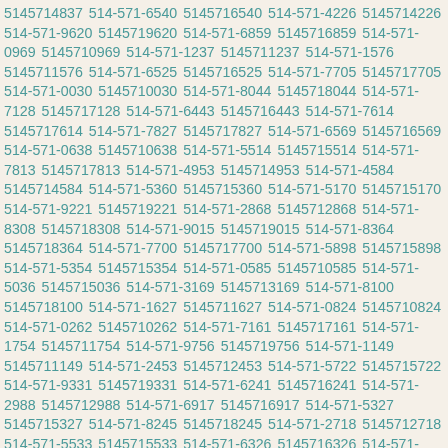5145714837 514-571-6540 5145716540 514-571-4226 5145714226 514-571-9620 5145719620 514-571-6859 5145716859 514-571-0969 5145710969 514-571-1237 5145711237 514-571-1576 5145711576 514-571-6525 5145716525 514-571-7705 5145717705 514-571-0030 5145710030 514-571-8044 5145718044 514-571-7128 5145717128 514-571-6443 5145716443 514-571-7614 5145717614 514-571-7827 5145717827 514-571-6569 5145716569 514-571-0638 5145710638 514-571-5514 5145715514 514-571-7813 5145717813 514-571-4953 5145714953 514-571-4584 5145714584 514-571-5360 5145715360 514-571-5170 5145715170 514-571-9221 5145719221 514-571-2868 5145712868 514-571-8308 5145718308 514-571-9015 5145719015 514-571-8364 5145718364 514-571-7700 5145717700 514-571-5898 5145715898 514-571-5354 5145715354 514-571-0585 5145710585 514-571-5036 5145715036 514-571-3169 5145713169 514-571-8100 5145718100 514-571-1627 5145711627 514-571-0824 5145710824 514-571-0262 5145710262 514-571-7161 5145717161 514-571-1754 5145711754 514-571-9756 5145719756 514-571-1149 5145711149 514-571-2453 5145712453 514-571-5722 5145715722 514-571-9331 5145719331 514-571-6241 5145716241 514-571-2988 5145712988 514-571-6917 5145716917 514-571-5327 5145715327 514-571-8245 5145718245 514-571-2718 5145712718 514-571-5533 5145715533 514-571-6326 5145716326 514-571-8349 5145718349 514-571-7282 5145717282 514-571-4585 5145714585 514-571-1972 5145711972 514-571-4810 5145714810 514-571-2571 5145712571 514-571-2950 5145712950 514-571-5072 5145715072 514-571-6254 5145716254 514-571-1718 5145711718 514-571-1305 5145711305 514-571-7594